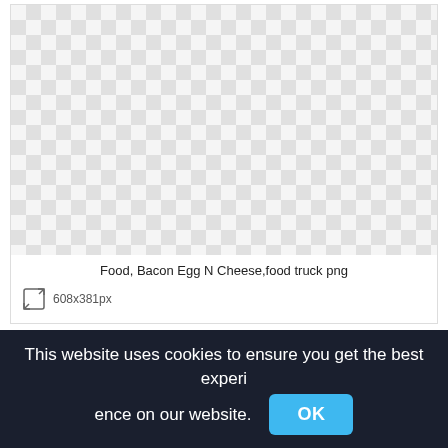[Figure (other): Image card showing a checkerboard transparent background pattern for a PNG image, with title 'Food, Bacon Egg N Cheese,food truck png' and dimensions 608x381px]
Food, Bacon Egg N Cheese,food truck png
608x381px
This website uses cookies to ensure you get the best experience on our website.